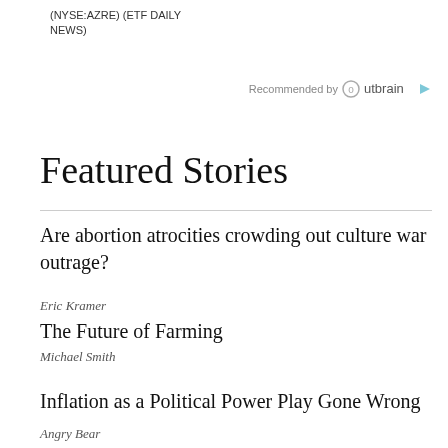(NYSE:AZRE) (ETF DAILY NEWS)
Recommended by Outbrain
Featured Stories
Are abortion atrocities crowding out culture war outrage?
Eric Kramer
The Future of Farming
Michael Smith
Inflation as a Political Power Play Gone Wrong
Angry Bear